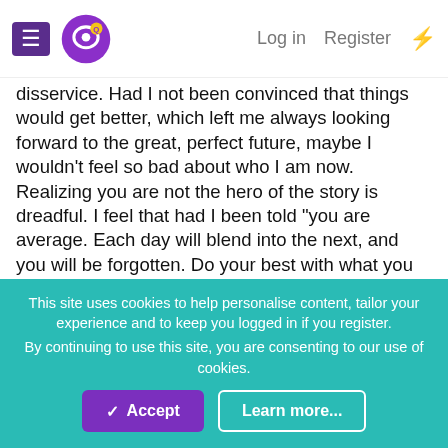Log in  Register
disservice. Had I not been convinced that things would get better, which left me always looking forward to the great, perfect future, maybe I wouldn't feel so bad about who I am now. Realizing you are not the hero of the story is dreadful. I feel that had I been told "you are average. Each day will blend into the next, and you will be forgotten. Do your best with what you have", as a child, I wouldn't have wasted the time that was good. I wouldn't have told myself "you have your whole life to do that".
And now, whether I live another minute or another century, my life is over. My mind is destroyed and my body numbed from a year of seclusion. And I welcome the darkness.
tweetypie
This site uses cookies to help personalise content, tailor your experience and to keep you logged in if you register.
By continuing to use this site, you are consenting to our use of cookies.